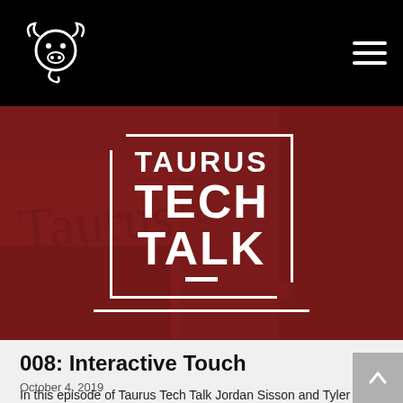Taurus Tech Talk website navigation bar with logo
[Figure (logo): Taurus brand logo in white on black background — stylized bull head with horns and curved tail]
[Figure (photo): Hero image with dark red/maroon background showing a building, overlaid with the 'TAURUS TECH TALK' text logo in a white box frame]
008: Interactive Touch
October 4, 2019
In this episode of Taurus Tech Talk Jordan Sisson and Tyler